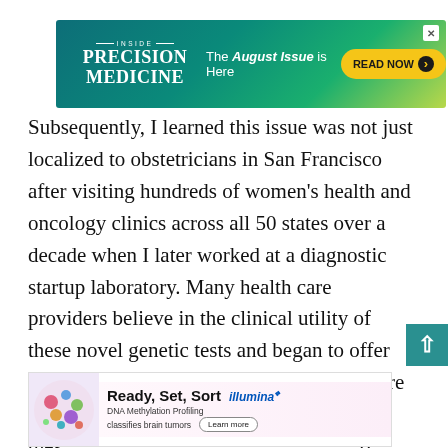[Figure (other): Advertisement banner for Inside Precision Medicine magazine - 'The August Issue is Here' with 'READ NOW' button on teal/green gradient background]
Subsequently, I learned this issue was not just localized to obstetricians in San Francisco after visiting hundreds of women’s health and oncology clinics across all 50 states over a decade when I later worked at a diagnostic startup laboratory. Many health care providers believe in the clinical utility of these novel genetic tests and began to offer them to a few applicable patients. They were unable to routinely off these to include
[Figure (other): Advertisement for Illumina - 'Ready, Set, Sort' - DNA Methylation Profiling classifies brain tumors - Learn more button]